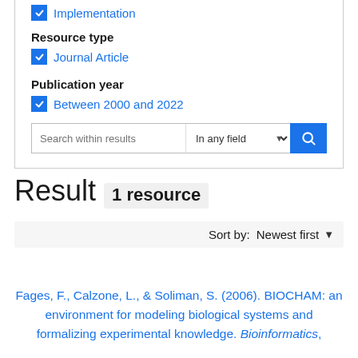☑ Implementation
Resource type
☑ Journal Article
Publication year
☑ Between 2000 and 2022
Search within results | In any field
Result  1 resource
Sort by: Newest first
Fages, F., Calzone, L., & Soliman, S. (2006). BIOCHAM: an environment for modeling biological systems and formalizing experimental knowledge. Bioinformatics,